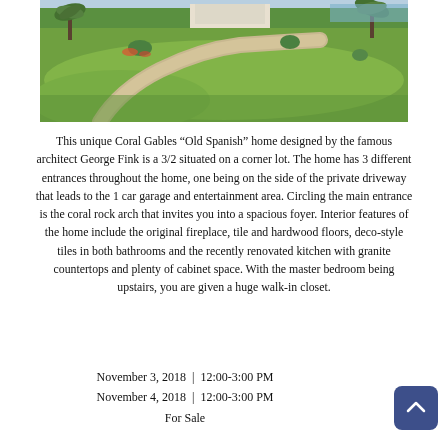[Figure (photo): Exterior photo of a Coral Gables home showing a curved concrete walkway through a well-manicured green lawn with palm trees and tropical plants visible in the background.]
This unique Coral Gables “Old Spanish” home designed by the famous architect George Fink is a 3/2 situated on a corner lot. The home has 3 different entrances throughout the home, one being on the side of the private driveway that leads to the 1 car garage and entertainment area. Circling the main entrance is the coral rock arch that invites you into a spacious foyer. Interior features of the home include the original fireplace, tile and hardwood floors, deco-style tiles in both bathrooms and the recently renovated kitchen with granite countertops and plenty of cabinet space. With the master bedroom being upstairs, you are given a huge walk-in closet.
November 3, 2018 |  12:00-3:00 PM
November 4, 2018 |  12:00-3:00 PM
For Sale